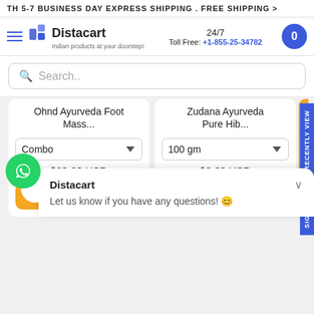TH 5-7 BUSINESS DAY EXPRESS SHIPPING . FREE SHIPPING >
[Figure (logo): Distacart logo with tagline: Indian products at your doorstep!]
24/7 Toll Free: +1-855-25-34782
Search..
Ohnd Ayurveda Foot Mass...
Zudana Ayurveda Pure Hib...
Combo
$69.62 USD
+ Add To Cart >
100 gm
$8.60 USD
+ Add To Cart >
Sign up & say RECENTLY VIEW
Distacart
Let us know if you have any questions! 😊